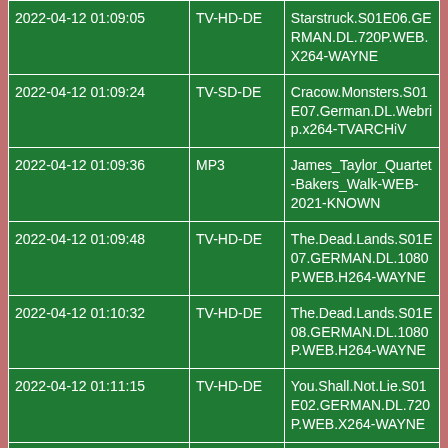| 2022-04-12 01:09:05 | TV-HD-DE | Starstruck.S01E06.GERMAN.DL.720P.WEB.X264-WAYNE |
| 2022-04-12 01:09:24 | TV-SD-DE | Cracow.Monsters.S01E07.German.DL.Webrip.x264-TVARCHiV |
| 2022-04-12 01:09:36 | MP3 | James_Taylor_Quartet-Bakers_Walk-WEB-2021-KNOWN |
| 2022-04-12 01:09:48 | TV-HD-DE | The.Dead.Lands.S01E07.GERMAN.DL.1080P.WEB.H264-WAYNE |
| 2022-04-12 01:10:32 | TV-HD-DE | The.Dead.Lands.S01E08.GERMAN.DL.1080P.WEB.H264-WAYNE |
| 2022-04-12 01:11:15 | TV-HD-DE | You.Shall.Not.Lie.S01E02.GERMAN.DL.720P.WEB.X264-WAYNE |
| 2022-04-12 01:11:24 | MP3 | Preed_One-BOOMBAPOLOGY_1 |